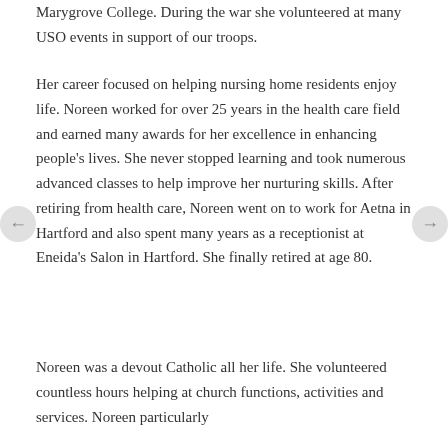Marygrove College. During the war she volunteered at many USO events in support of our troops.
Her career focused on helping nursing home residents enjoy life. Noreen worked for over 25 years in the health care field and earned many awards for her excellence in enhancing people's lives. She never stopped learning and took numerous advanced classes to help improve her nurturing skills. After retiring from health care, Noreen went on to work for Aetna in Hartford and also spent many years as a receptionist at Eneida's Salon in Hartford. She finally retired at age 80.
Noreen was a devout Catholic all her life. She volunteered countless hours helping at church functions, activities and services. Noreen particularly